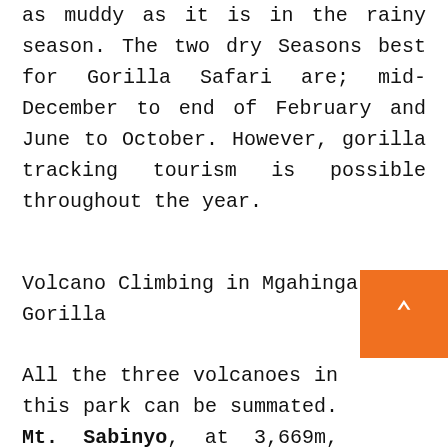as muddy as it is in the rainy season. The two dry Seasons best for Gorilla Safari are; mid-December to end of February and June to October. However, gorilla tracking tourism is possible throughout the year.
Volcano Climbing in Mgahinga Gorilla
All the three volcanoes in this park can be summated. Mt. Sabinyo, at 3,669m, takes about eight hours to cover the 14km round trip following a steep ridge up to the